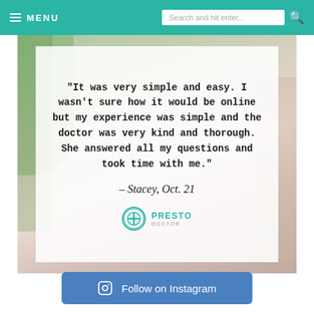≡ MENU | Search and hit enter...
[Figure (photo): Background lifestyle photo with plants and home decor items, overlaid with a white semi-transparent quote card containing a patient testimonial and PrestoDoctor logo.]
"It was very simple and easy. I wasn't sure how it would be online but my experience was simple and the doctor was very kind and thorough. She answered all my questions and took time with me."
– Stacey, Oct. 21
PRESTO DOCTOR
Follow on Instagram